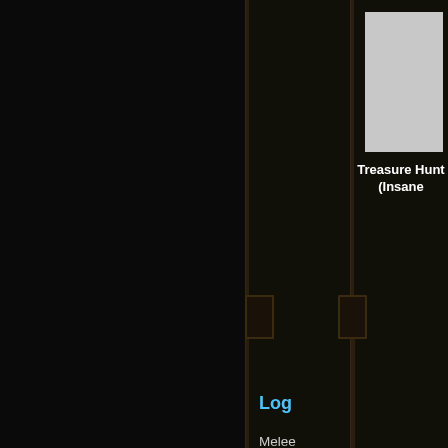[Figure (screenshot): Game UI screenshot showing a dark-themed interface. On the right side there is an item panel with a gray item image placeholder. Below it reads 'Treasure Hunt (Insane'. A vertical log panel shows combat text: 'Log' in blue, then white text 'Melee retaliation hits', yellow text 'Wriggle-In-Ur-Ass', white text 'for (2 absorbed),', green text '0', and green text 'blight'. The left two-thirds of the screen is a very dark game environment.]
Treasure Hunt (Insane
Log
Melee retaliation hits Wriggle-In-Ur-Ass for (2 absorbed), 0 blight